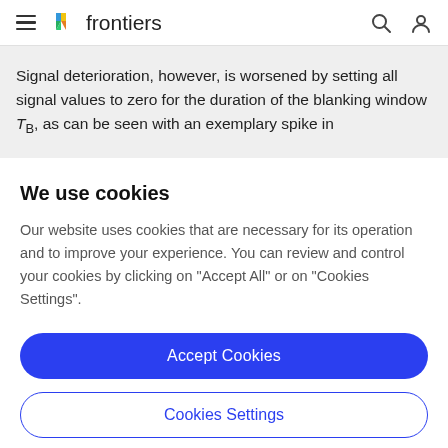frontiers
Signal deterioration, however, is worsened by setting all signal values to zero for the duration of the blanking window T_B, as can be seen with an exemplary spike in
We use cookies
Our website uses cookies that are necessary for its operation and to improve your experience. You can review and control your cookies by clicking on "Accept All" or on "Cookies Settings".
Accept Cookies
Cookies Settings